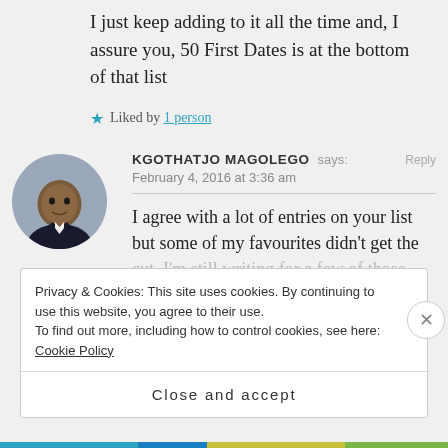I just keep adding to it all the time and, I assure you, 50 First Dates is at the bottom of that list
Liked by 1 person
KGOTHATJO MAGOLEGO says: February 4, 2016 at 3:36 am
I agree with a lot of entries on your list but some of my favourites didn't get the cut. I'm still waiting for a few of those
Privacy & Cookies: This site uses cookies. By continuing to use this website, you agree to their use.
To find out more, including how to control cookies, see here: Cookie Policy
Close and accept